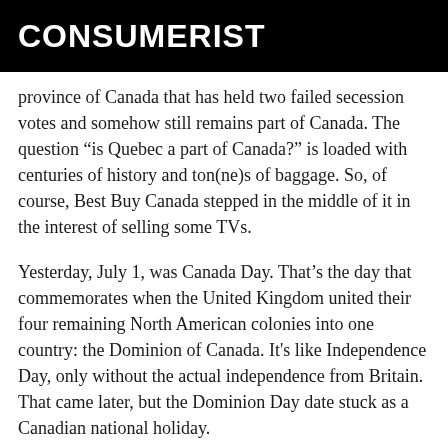CONSUMERIST
province of Canada that has held two failed secession votes and somehow still remains part of Canada. The question “is Quebec a part of Canada?” is loaded with centuries of history and ton(ne)s of baggage. So, of course, Best Buy Canada stepped in the middle of it in the interest of selling some TVs.
Yesterday, July 1, was Canada Day. That’s the day that commemorates when the United Kingdom united their four remaining North American colonies into one country: the Dominion of Canada. It's like Independence Day, only without the actual independence from Britain. That came later, but the Dominion Day date stuck as a Canadian national holiday.
In Quebec, it happens that many leases end on June 30th, making Canada Day the optimal time to pack up your apartment and move. “Moving Day” is a holiday there,